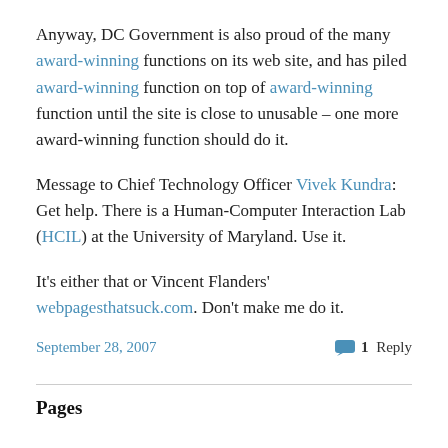Anyway, DC Government is also proud of the many award-winning functions on its web site, and has piled award-winning function on top of award-winning function until the site is close to unusable – one more award-winning function should do it.
Message to Chief Technology Officer Vivek Kundra: Get help. There is a Human-Computer Interaction Lab (HCIL) at the University of Maryland. Use it.
It's either that or Vincent Flanders' webpagesthatsuck.com. Don't make me do it.
September 28, 2007   1 Reply
Pages